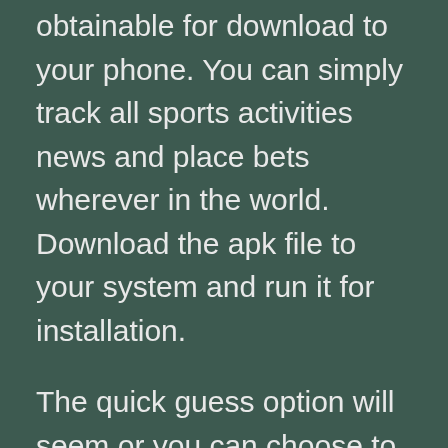obtainable for download to your phone. You can simply track all sports activities news and place bets wherever in the world. Download the apk file to your system and run it for installation.
The quick guess option will seem or you can choose to add it to your guess slip. By default, all of the selections added to the wager slip are listed as an accumulator, but you possibly can change this with one click on to a system bet, patent, chain or conditional bet. For most events, you solely must have a funded account to observe the live streams. Using a mobile